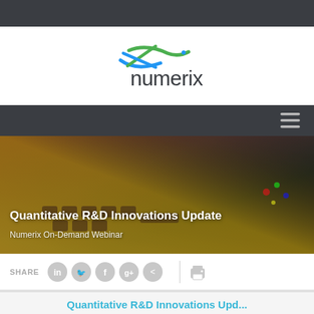[Figure (logo): Numerix logo with green and blue swoosh/arrow graphic above the word 'numerix' in dark grey lowercase letters]
[Figure (photo): Hero image of hands typing on a illuminated keyboard with colorful lights, overlaid with title text 'Quantitative R&D Innovations Update' and subtitle 'Numerix On-Demand Webinar']
Quantitative R&D Innovations Update
Numerix On-Demand Webinar
SHARE
Quantitative R&D Innovations Update